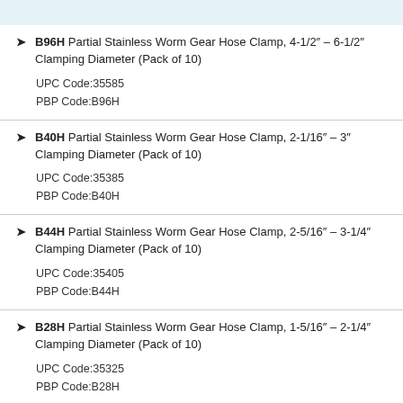B96H Partial Stainless Worm Gear Hose Clamp, 4-1/2" – 6-1/2" Clamping Diameter (Pack of 10)
UPC Code:35585
PBP Code:B96H
B40H Partial Stainless Worm Gear Hose Clamp, 2-1/16" – 3" Clamping Diameter (Pack of 10)
UPC Code:35385
PBP Code:B40H
B44H Partial Stainless Worm Gear Hose Clamp, 2-5/16" – 3-1/4" Clamping Diameter (Pack of 10)
UPC Code:35405
PBP Code:B44H
B28H Partial Stainless Worm Gear Hose Clamp, 1-5/16" – 2-1/4" Clamping Diameter (Pack of 10)
UPC Code:35325
PBP Code:B28H